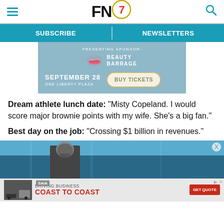FN7 [logo with hamburger menu and search icon]
SUBSCRIBE   NEWSLETTERS
[Figure (infographic): Event ad banner with teal/blue background. Presenting Sponsor: Beauty Barrage (lips logo). September 28, One Liberty Plaza. BUY TICKETS button.]
Dream athlete lunch date: “Misty Copeland. I would score major brownie points with my wife. She’s a big fan.”
Best day on the job: “Crossing $1 billion in revenues.”
[Figure (photo): Photo of a football player (New England Patriots helmet) on the field with a blurred crowd in the background.]
[Figure (infographic): Advertisement: Driving Business Coast to Coast. SAIA logo. GET QUOTE button.]